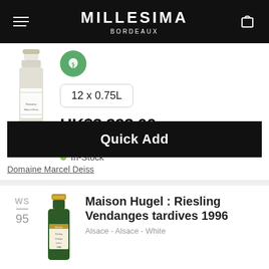MILLESIMA BORDEAUX
12 x 0.75L
HK$3,293.00
HK$274.42 / Unit
In-Stock
Quick Add
Domaine Marcel Deiss
WS
—
95
Maison Hugel : Riesling Vendanges tardives 1996
Alsace - Alsace - White